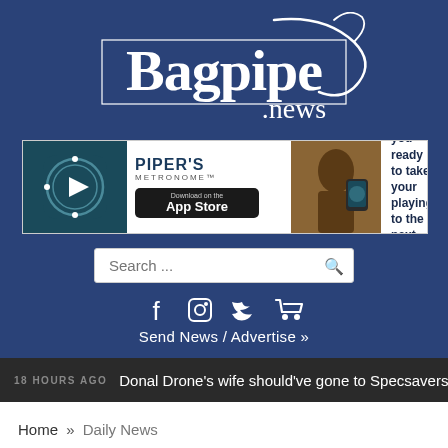[Figure (logo): Bagpipe.news logo in white text on dark blue background with decorative swirl]
[Figure (illustration): Advertisement banner for Piper's Metronome app showing app icon, title, App Store download button, photo of person holding phone, and text 'Are you ready to take your playing to the next level?']
Search ...
[Figure (infographic): Social media icons: Facebook, Instagram, Twitter, shopping cart]
Send News / Advertise »
18 HOURS AGO  Donal Drone's wife should've gone to Specsavers
Home » Daily News